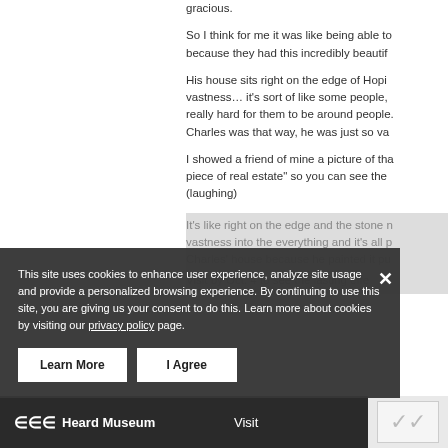gracious.
So I think for me it was like being able to because they had this incredibly beautif
His house sits right on the edge of Hopi vastness… it's sort of like some people, really hard for them to be around people. Charles was that way, he was just so va
I showed a friend of mine a picture of tha piece of real estate" so you can see the (laughing)
It's like right on the edge and the stone n vastness into the everything and it's all p Charles' house because he painted it pu
Visit by Oct. 4 to see the lasting effe
This site uses cookies to enhance user experience, analyze site usage and provide a personalized browsing experience. By continuing to use this site, you are giving us your consent to do this. Learn more about cookies by visiting our privacy policy page.
Heard Museum   Visit